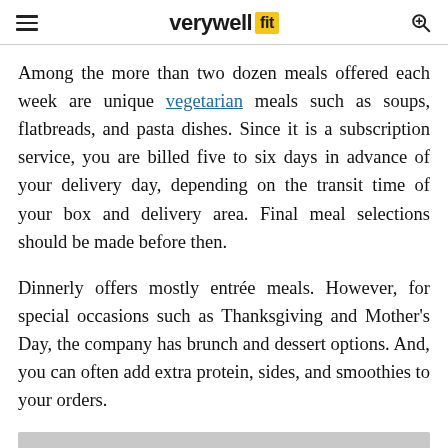verywell fit
Among the more than two dozen meals offered each week are unique vegetarian meals such as soups, flatbreads, and pasta dishes. Since it is a subscription service, you are billed five to six days in advance of your delivery day, depending on the transit time of your box and delivery area. Final meal selections should be made before then.
Dinnerly offers mostly entrée meals. However, for special occasions such as Thanksgiving and Mother's Day, the company has brunch and dessert options. And, you can often add extra protein, sides, and smoothies to your orders.
[Figure (photo): Gray placeholder image at bottom of page]